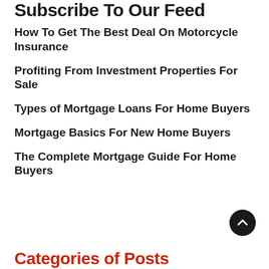Subscribe To Our Feed
How To Get The Best Deal On Motorcycle Insurance
Profiting From Investment Properties For Sale
Types of Mortgage Loans For Home Buyers
Mortgage Basics For New Home Buyers
The Complete Mortgage Guide For Home Buyers
Categories of Posts